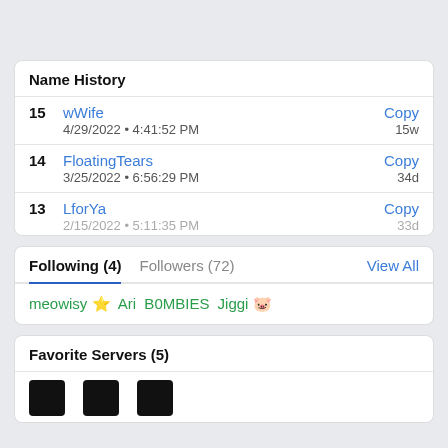| # | Name | Copy | Age |
| --- | --- | --- | --- |
| 15 | wWife | Copy | 15w | 4/29/2022 • 4:41:52 PM |
| 14 | FloatingTears | Copy | 34d | 3/25/2022 • 6:56:29 PM |
| 13 | LforYa | Copy | ... | 2/15/2022 • 5:11:35 PM |
Following (4)   Followers (72)   View All
meowisy ⭐ Ari B0MBIES Jiggi 🐷
Favorite Servers (5)